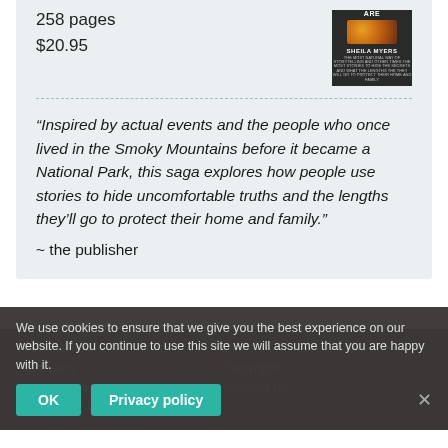258 pages
$20.95
[Figure (illustration): Book cover with dark background, orange/brown circular image, author name SHEILA MYERS in white text]
“Inspired by actual events and the people who once lived in the Smoky Mountains before it became a National Park, this saga explores how people use stories to hide uncomfortable truths and the lengths they’ll go to protect their home and family.”
~ the publisher
© Chapter 16
Sponsors
Privacy Policy
Links We Like
Copyright
Contact Us
We use cookies to ensure that we give you the best experience on our website. If you continue to use this site we will assume that you are happy with it.
OK    Privacy policy